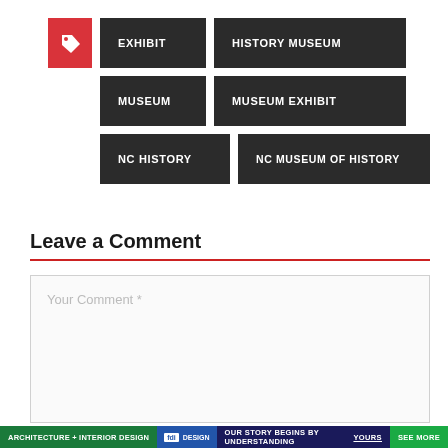EXHIBIT
HISTORY MUSEUM
MUSEUM
MUSEUM EXHIBIT
NC HISTORY
NC MUSEUM OF HISTORY
Leave a Comment
Your Comment *
ARCHITECTURE + INTERIOR DESIGN   DESIGN   OUR STORY BEGINS BY UNDERSTANDING YOURS   SEE MORE